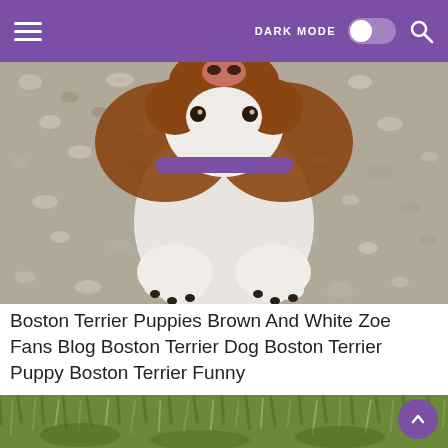DARK MODE [toggle] [search icon]
[Figure (photo): Close-up photo of a brown and white Boston Terrier puppy looking up at the camera, showing its nose, face, and white paws resting on a gravel/pebble surface. The puppy is wearing a purple collar.]
Boston Terrier Puppies Brown And White Zoe Fans Blog Boston Terrier Dog Boston Terrier Puppy Boston Terrier Funny
[Figure (photo): Photo showing a dog on a grassy surface, partially visible as the image is cropped at the bottom of the page.]